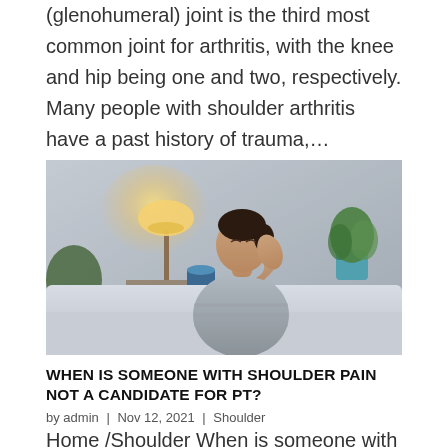(glenohumeral) joint is the third most common joint for arthritis, with the knee and hip being one and two, respectively. Many people with shoulder arthritis have a past history of trauma,…
[Figure (photo): A woman sitting on a couch holding her shoulder/neck area in pain, with a lamp and plant visible in the background against a brick wall.]
WHEN IS SOMEONE WITH SHOULDER PAIN NOT A CANDIDATE FOR PT?
by admin | Nov 12, 2021 | Shoulder
Home /Shoulder When is someone with